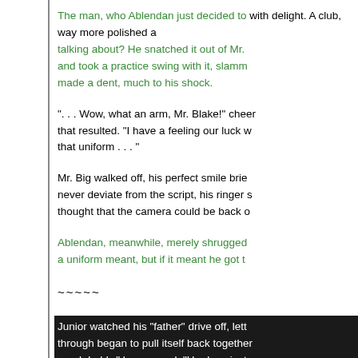The man, who Ablendan just decided to with delight. A club, way more polished a talking about? He snatched it out of Mr. and took a practice swing with it, slamm made a dent, much to his shock.
". . . Wow, what an arm, Mr. Blake!" cheer that resulted. "I have a feeling our luck w that uniform . . . "
Mr. Big walked off, his perfect smile brie never deviate from the script, his ringer s thought that the camera could be back o
Ablendan, meanwhile, merely shrugged a uniform meant, but if it meant he got t
~~~~~
Junior watched his "father" drive off, lett through began to pull itself back together good daddy," he crooned. "He does just w